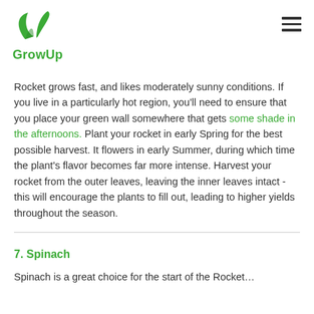GrowUp
Rocket grows fast, and likes moderately sunny conditions. If you live in a particularly hot region, you'll need to ensure that you place your green wall somewhere that gets some shade in the afternoons. Plant your rocket in early Spring for the best possible harvest. It flowers in early Summer, during which time the plant's flavor becomes far more intense. Harvest your rocket from the outer leaves, leaving the inner leaves intact - this will encourage the plants to fill out, leading to higher yields throughout the season.
7. Spinach
Spinach is a great...